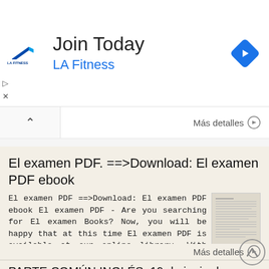[Figure (infographic): LA Fitness advertisement banner with logo, 'Join Today' headline, 'LA Fitness' subtext in blue, and a blue diamond navigation arrow icon on the right. Small play and close icons on the left side.]
Más detalles →
El examen PDF. ==>Download: El examen PDF ebook
El examen PDF ==>Download: El examen PDF ebook El examen PDF - Are you searching for El examen Books? Now, you will be happy that at this time El examen PDF is available at our online library. With our
Más detalles →
PARTE COMÚN INGLÉS. 19 de junio de 2008 IES/CIFP DATOS DEL ASPIRANTE